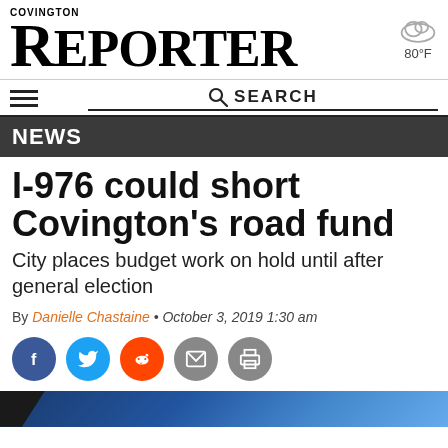COVINGTON REPORTER — 80°F
NEWS
I-976 could short Covington's road fund
City places budget work on hold until after general election
By Danielle Chastaine • October 3, 2019 1:30 am
[Figure (other): Social sharing buttons: Facebook, Twitter, Reddit, Email, Print]
[Figure (photo): Bottom image strip with blue/dark gradient colors]